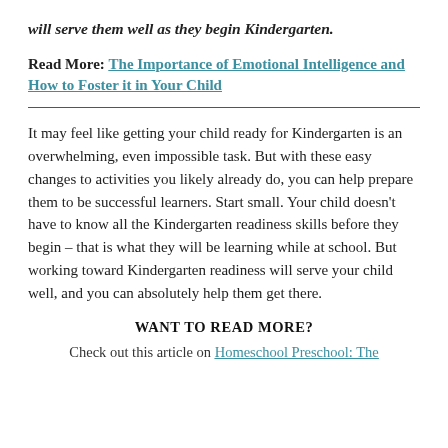will serve them well as they begin Kindergarten.
Read More: The Importance of Emotional Intelligence and How to Foster it in Your Child
It may feel like getting your child ready for Kindergarten is an overwhelming, even impossible task. But with these easy changes to activities you likely already do, you can help prepare them to be successful learners. Start small. Your child doesn’t have to know all the Kindergarten readiness skills before they begin – that is what they will be learning while at school. But working toward Kindergarten readiness will serve your child well, and you can absolutely help them get there.
WANT TO READ MORE?
Check out this article on Homeschool Preschool: The